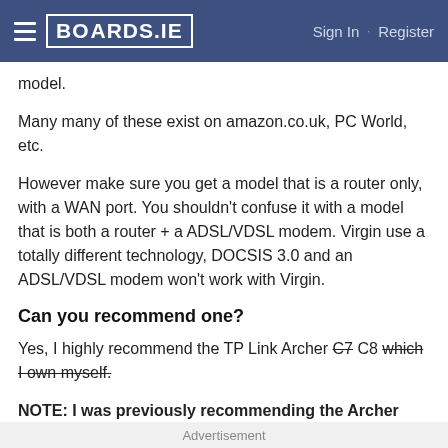BOARDS.IE  Sign In · Register
model.
Many many of these exist on amazon.co.uk, PC World, etc.
However make sure you get a model that is a router only, with a WAN port. You shouldn't confuse it with a model that is both a router + a ADSL/VDSL modem. Virgin use a totally different technology, DOCSIS 3.0 and an ADSL/VDSL modem won't work with Virgin.
Can you recommend one?
Yes, I highly recommend the TP Link Archer C7 C8 which I own myself.
NOTE: I was previously recommending the Archer
Advertisement